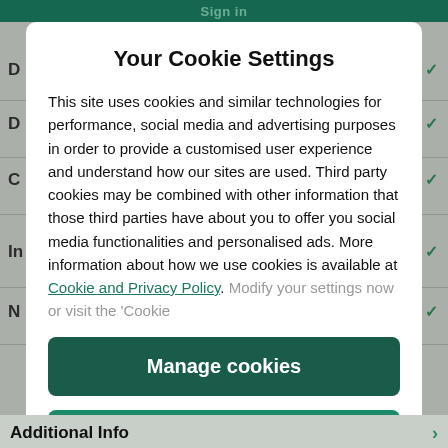Sign in
Your Cookie Settings
This site uses cookies and similar technologies for performance, social media and advertising purposes in order to provide a customised user experience and understand how our sites are used. Third party cookies may be combined with other information that those third parties have about you to offer you social media functionalities and personalised ads. More information about how we use cookies is available at Cookie and Privacy Policy. Modify your settings now or visit the ‘Cookie
Manage cookies
Yes I accept
Additional Info